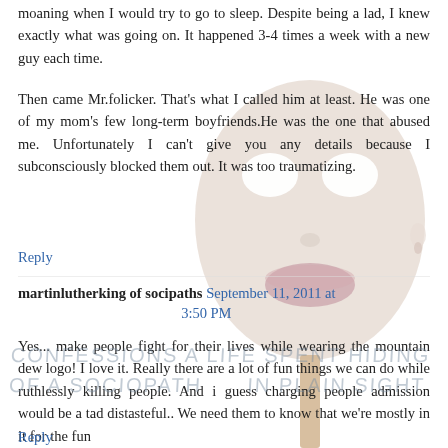moaning when I would try to go to sleep. Despite being a lad, I knew exactly what was going on. It happened 3-4 times a week with a new guy each time.
Then came Mr.folicker. That's what I called him at least. He was one of my mom's few long-term boyfriends.He was the one that abused me. Unfortunately I can't give you any details because I subconsciously blocked them out. It was too traumatizing.
Reply
martinlutherking of socipaths  September 11, 2011 at 3:50 PM
Yes... make people fight for their lives while wearing the mountain dew logo! I love it. Really there are a lot of fun things we can do while ruthlessly killing people. And i guess charging people admission would be a tad distasteful.. We need them to know that we're mostly in it for the fun
Reply
[Figure (illustration): Background illustration of a mannequin or mask face (pale, featureless) on a stick, overlaid with handwritten watermark text reading 'CONFESSIONS A LIFE SPENT HIDING OF A SOCIOPATH IN PLAIN SIGHT']